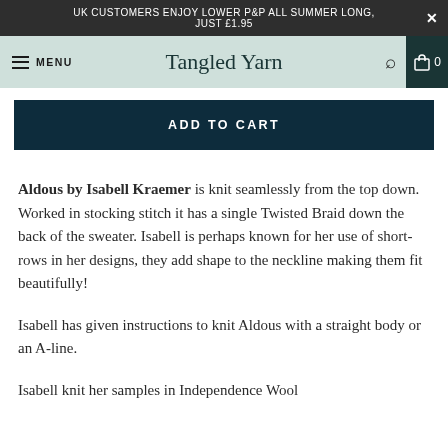UK CUSTOMERS ENJOY LOWER P&P ALL SUMMER LONG, JUST £1.95
MENU | Tangled Yarn | 0
ADD TO CART
Aldous by Isabell Kraemer is knit seamlessly from the top down. Worked in stocking stitch it has a single Twisted Braid down the back of the sweater. Isabell is perhaps known for her use of short-rows in her designs, they add shape to the neckline making them fit beautifully!
Isabell has given instructions to knit Aldous with a straight body or an A-line.
Isabell knit her samples in Independence Wool